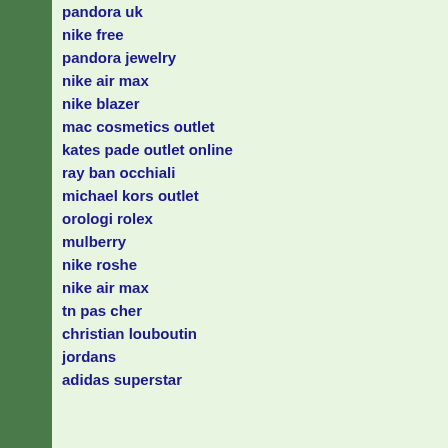pandora uk
nike free
pandora jewelry
nike air max
nike blazer
mac cosmetics outlet
kates pade outlet online
ray ban occhiali
michael kors outlet
orologi rolex
mulberry
nike roshe
nike air max
tn pas cher
christian louboutin
jordans
adidas superstar